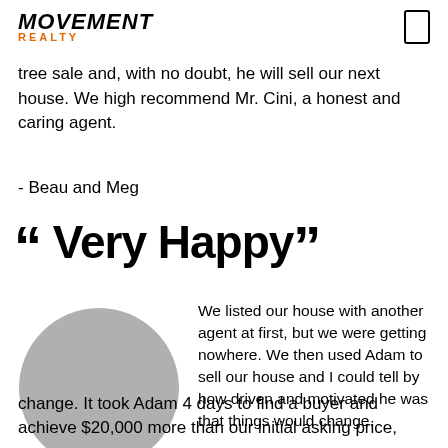MOVEMENT REALTY
tree sale and, with no doubt, he will sell our next house. We high recommend Mr. Cini, a honest and caring agent.
- Beau and Meg
" Very Happy "
[Figure (photo): Circular gray placeholder photo of a person]
We listed our house with another agent at first, but we were getting nowhere. We then used Adam to sell our house and I could tell by how driven and motivated he was that things would change. It took Adam 4 days to find a buyer and achieve $20,000 more than our initial asking price,